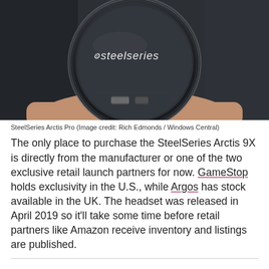[Figure (photo): Close-up photo of a SteelSeries Arctis Pro headset being held in a hand, showing the circular SteelSeries logo on the dark device.]
SteelSeries Arctis Pro (Image credit: Rich Edmonds / Windows Central)
The only place to purchase the SteelSeries Arctis 9X is directly from the manufacturer or one of the two exclusive retail launch partners for now. GameStop holds exclusivity in the U.S., while Argos has stock available in the UK. The headset was released in April 2019 so it'll take some time before retail partners like Amazon receive inventory and listings are published.